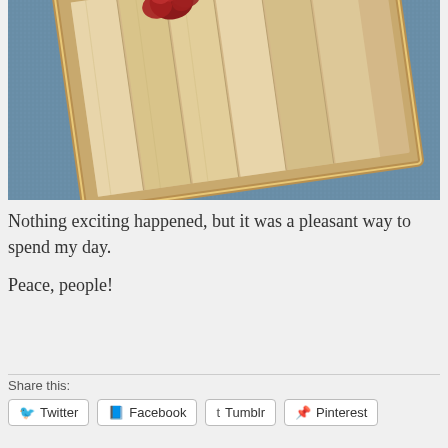[Figure (photo): A wooden framed artwork or tray with painted wooden slat panels, showing red rose/flower decoration on top portion, placed at an angle on a blue-gray carpet floor.]
Nothing exciting happened, but it was a pleasant way to spend my day.
Peace, people!
Share this:
Twitter  Facebook  Tumblr  Pinterest